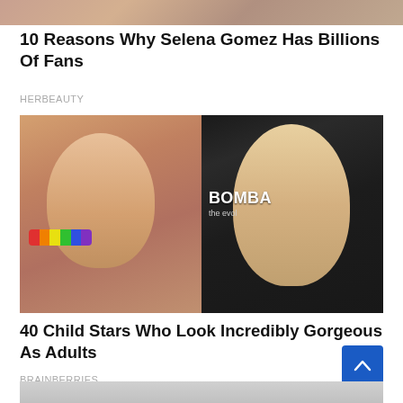[Figure (photo): Partial top image, cropped celebrity photo]
10 Reasons Why Selena Gomez Has Billions Of Fans
HERBEAUTY
[Figure (photo): Before/after comparison: young girl with glasses and rainbow wristbands on left, blonde woman at BOMBA event on right]
40 Child Stars Who Look Incredibly Gorgeous As Adults
BRAINBERRIES
[Figure (photo): Partially visible bottom image, cropped celebrity photo]